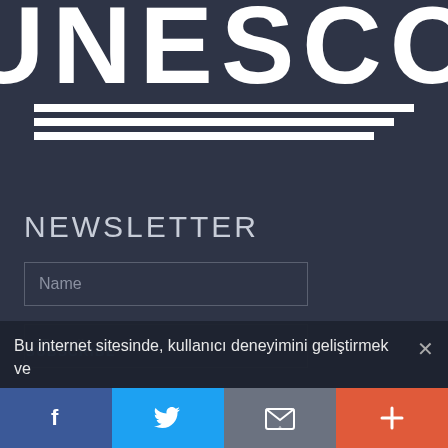[Figure (logo): UNESCO logo — large white bold uppercase text 'UNESCO' with three horizontal white lines beneath it, arranged in descending width, on a dark navy-blue background.]
NEWSLETTER
Name
E-mail
Bu internet sitesinde, kullanıcı deneyimini geliştirmek ve
SUBSCRIBE
f  Twitter-bird  Email  +